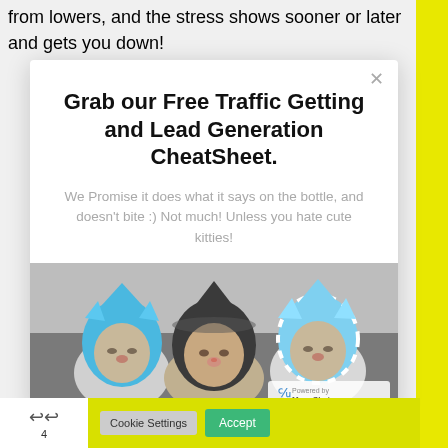from lowers, and the stress shows sooner or later and gets you down!
[Figure (screenshot): Modal popup with title 'Grab our Free Traffic Getting and Lead Generation CheatSheet.' and subtitle 'We Promise it does what it says on the bottle, and doesn't bite :) Not much! Unless you hate cute kitties!' with a photo of three cats wearing knitted hoods, and a ManyChat powered badge.]
Grab our Free Traffic Getting and Lead Generation CheatSheet.
We Promise it does what it says on the bottle, and doesn't bite :) Not much! Unless you hate cute kitties!
Cookie Settings   Accept   4